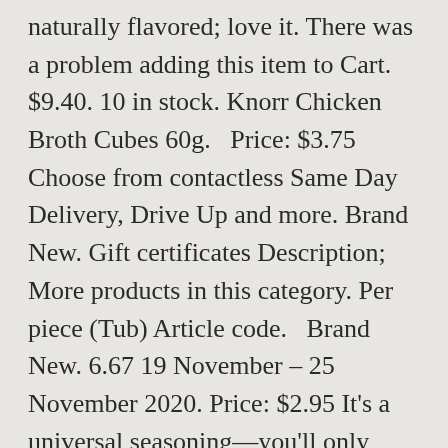naturally flavored; love it. There was a problem adding this item to Cart. $9.40. 10 in stock. Knorr Chicken Broth Cubes 60g.   Price: $3.75 Choose from contactless Same Day Delivery, Drive Up and more. Brand New. Gift certificates Description; More products in this category. Per piece (Tub) Article code.   Brand New. 6.67 19 November – 25 November 2020. Price: $2.95 It's a universal seasoning—you'll only need a tiny pinch for an extraordinary punch of flavours. Lee Kum Kee Ready sauce for Thai Lemongras... Lee Kum Kee San Choy Bao (Lettuce Cup) Rea... Lee Kum Kee Sauce for Black Pepper Chicken, Lee Kum Kee Sauce for Spicy Garlic Egg-Plant.   Now, you can create scratch-quality salted egg dishes in just 1-step!